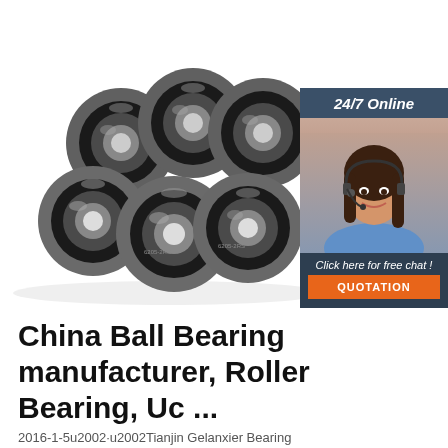[Figure (photo): Multiple black ball bearings (6 bearings) arranged on a white background, showing the metallic and rubber-sealed construction. Overlaid with a 24/7 online chat widget featuring a woman with a headset.]
China Ball Bearing manufacturer, Roller Bearing, Uc ...
2016-1-5u2002·u2002Tianjin Gelanxier Bearing